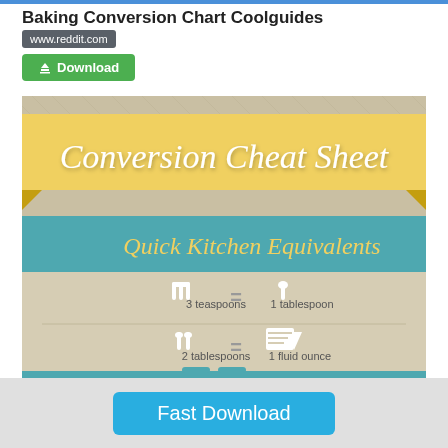Baking Conversion Chart Coolguides
www.reddit.com
Download
[Figure (infographic): Baking Conversion Cheat Sheet infographic showing Quick Kitchen Equivalents: 3 teaspoons = 1 tablespoon; 2 tablespoons = 1 fluid ounce. Features a yellow banner ribbon with 'Conversion Cheat Sheet' text, a teal band with 'Quick Kitchen Equivalents', and a whisk icon.]
Fast Download